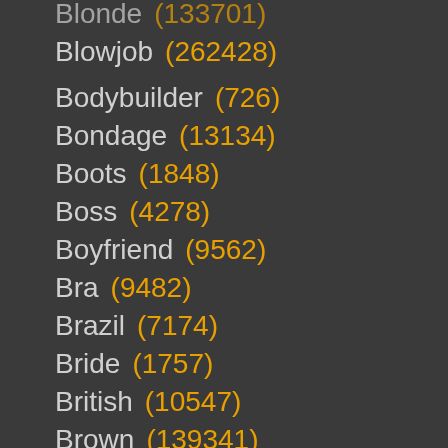Blonde (133701)
Blowjob (262428)
Bodybuilder (726)
Bondage (13134)
Boots (1848)
Boss (4278)
Boyfriend (9562)
Bra (9482)
Brazil (7174)
Bride (1757)
British (10547)
Brown (139341)
Brunette (231054)
Brutal (10175)
Bukkake (4531)
Bus (2649)